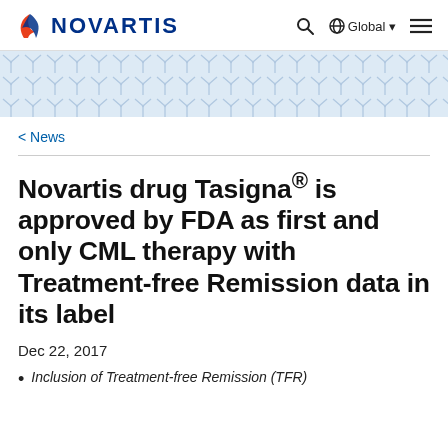NOVARTIS | Q Global ⊕ Global ▾ ≡
[Figure (illustration): Novartis decorative geometric pattern band in light blue, showing repeating Y/star-like molecular or branching shapes arranged in a grid pattern across the full width.]
< News
Novartis drug Tasigna® is approved by FDA as first and only CML therapy with Treatment-free Remission data in its label
Dec 22, 2017
Inclusion of Treatment-free Remission (TFR)